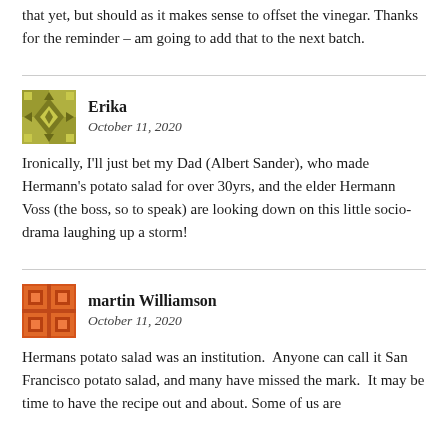that yet, but should as it makes sense to offset the vinegar. Thanks for the reminder – am going to add that to the next batch.
Erika
October 11, 2020

Ironically, I'll just bet my Dad (Albert Sander), who made Hermann's potato salad for over 30yrs, and the elder Hermann Voss (the boss, so to speak) are looking down on this little socio-drama laughing up a storm!
martin Williamson
October 11, 2020

Hermans potato salad was an institution.  Anyone can call it San Francisco potato salad, and many have missed the mark.  It may be time to have the recipe out and about. Some of us are...